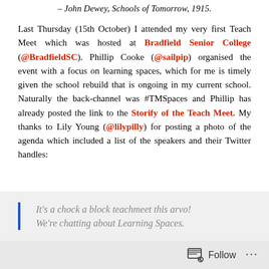– John Dewey, Schools of Tomorrow, 1915.
Last Thursday (15th October) I attended my very first Teach Meet which was hosted at Bradfield Senior College (@BradfieldSC). Phillip Cooke (@sailpip) organised the event with a focus on learning spaces, which for me is timely given the school rebuild that is ongoing in my current school. Naturally the back-channel was #TMSpaces and Phillip has already posted the link to the Storify of the Teach Meet. My thanks to Lily Young (@lilypilly) for posting a photo of the agenda which included a list of the speakers and their Twitter handles:
It's a chock a block teachmeet this arvo! We're chatting about Learning Spaces.
Follow